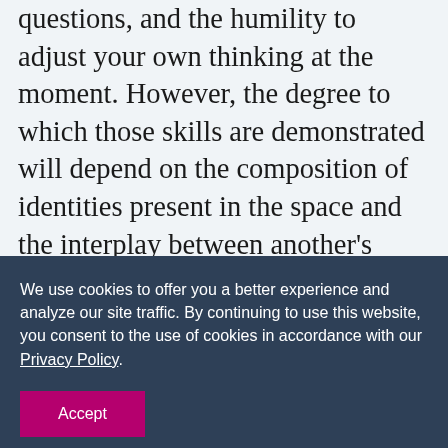questions, and the humility to adjust your own thinking at the moment. However, the degree to which those skills are demonstrated will depend on the composition of identities present in the space and the interplay between another's identities and our own. This is where situational discernment is required as to how to honor the dignity of that specific individual given who they
We use cookies to offer you a better experience and analyze our site traffic. By continuing to use this website, you consent to the use of cookies in accordance with our Privacy Policy.
Accept